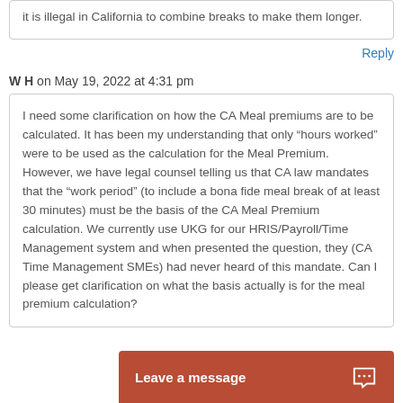it is illegal in California to combine breaks to make them longer.
Reply
W H on May 19, 2022 at 4:31 pm
I need some clarification on how the CA Meal premiums are to be calculated. It has been my understanding that only “hours worked” were to be used as the calculation for the Meal Premium. However, we have legal counsel telling us that CA law mandates that the “work period” (to include a bona fide meal break of at least 30 minutes) must be the basis of the CA Meal Premium calculation. We currently use UKG for our HRIS/Payroll/Time Management system and when presented the question, they (CA Time Management SMEs) had never heard of this mandate. Can I please get clarification on what the basis actually is for the meal premium calculation?
Leave a message